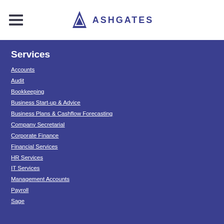[Figure (logo): Ashgates logo with triangular A icon and text ASHGATES in blue]
Services
Accounts
Audit
Bookkeeping
Business Start-up & Advice
Business Plans & Cashflow Forecasting
Company Secretarial
Corporate Finance
Financial Services
HR Services
IT Services
Management Accounts
Payroll
Sage